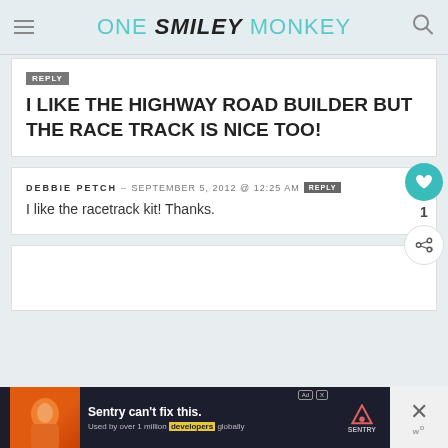ONE SMILEY MONKEY
I LIKE THE HIGHWAY ROAD BUILDER BUT THE RACE TRACK IS NICE TOO!
DEBBIE PETCH – SEPTEMBER 5, 2012 @ 12:25 AM
I like the racetrack kit! Thanks.
[Figure (screenshot): Ad banner: Sentry can't fix this. Used by over 1 million developers globally. Sentry logo.]